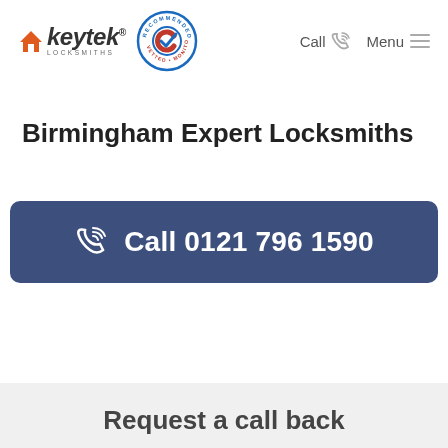[Figure (logo): Keytek Locksmiths logo with orange house icon and italic keytek text, plus Recommended Vetted Monitored circular badge]
Call  Menu
Birmingham Expert Locksmiths
Call 0121 796 1590
Request a call back